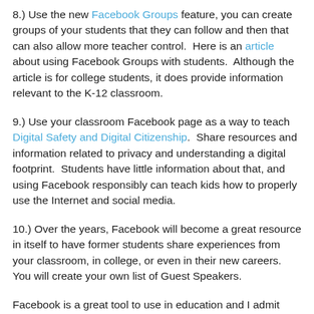8.) Use the new Facebook Groups feature, you can create groups of your students that they can follow and then that can also allow more teacher control.  Here is an article about using Facebook Groups with students.  Although the article is for college students, it does provide information relevant to the K-12 classroom.
9.) Use your classroom Facebook page as a way to teach Digital Safety and Digital Citizenship.  Share resources and information related to privacy and understanding a digital footprint.  Students have little information about that, and using Facebook responsibly can teach kids how to properly use the Internet and social media.
10.) Over the years, Facebook will become a great resource in itself to have former students share experiences from your classroom, in college, or even in their new careers.  You will create your own list of Guest Speakers.
Facebook is a great tool to use in education and I admit there are several learning curves that teachers and students will have to adjust too when it comes to "friending" each